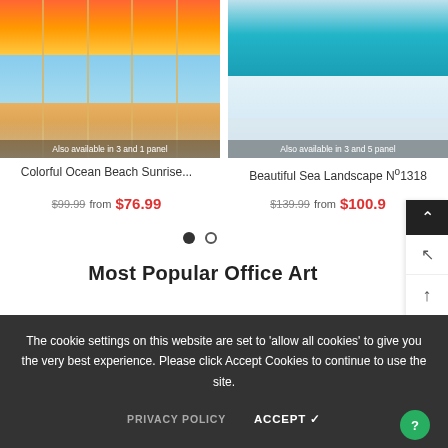[Figure (photo): Multi-panel canvas art showing colorful ocean beach sunrise with sofa in living room setting. Text overlay: 'Also available in 3 and 1 panel']
[Figure (photo): Aerial view sea landscape canvas art over sofa in living room. Text overlay: 'Also available in 3 and 5 panel']
Colorful Ocean Beach Sunrise...
$99.99  from  $76.99
Beautiful Sea Landscape No1318
$139.99  from  $100.9
Most Popular Office Art
The cookie settings on this website are set to 'allow all cookies' to give you the very best experience. Please click Accept Cookies to continue to use the site.
PRIVACY POLICY    ACCEPT ✔